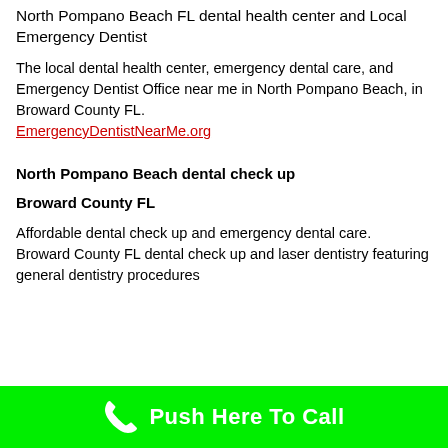North Pompano Beach FL dental health center and Local Emergency Dentist
The local dental health center, emergency dental care, and Emergency Dentist Office near me in North Pompano Beach, in Broward County FL.
EmergencyDentistNearMe.org
North Pompano Beach dental check up
Broward County FL
Affordable dental check up and emergency dental care.  Broward County FL dental check up and laser dentistry featuring general dentistry procedures
[Figure (infographic): Green call-to-action banner at bottom with phone icon and text 'Push Here To Call']